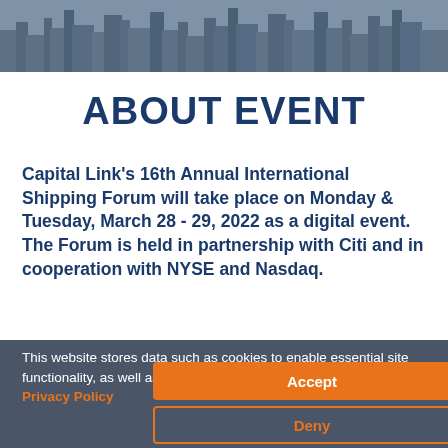[Figure (photo): City skyline banner image at the top of the page, muted/desaturated]
ABOUT EVENT
Capital Link's 16th Annual International Shipping Forum will take place on Monday & Tuesday, March 28 - 29, 2022 as a digital event. The Forum is held in partnership with Citi and in cooperation with NYSE and Nasdaq.
This website stores data such as cookies to enable essential site functionality, as well as marketing, personalization, and analytics. Privacy Policy
Accept
Deny